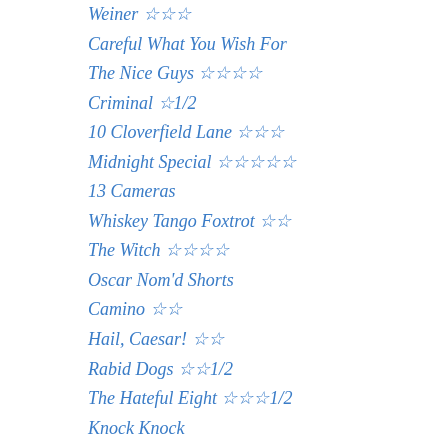Weiner ☆☆☆
Careful What You Wish For
The Nice Guys ☆☆☆☆
Criminal ☆1/2
10 Cloverfield Lane ☆☆☆
Midnight Special ☆☆☆☆☆
13 Cameras
Whiskey Tango Foxtrot ☆☆
The Witch ☆☆☆☆
Oscar Nom'd Shorts
Camino ☆☆
Hail, Caesar! ☆☆
Rabid Dogs ☆☆1/2
The Hateful Eight ☆☆☆1/2
Knock Knock
The Revenant ☆☆☆☆
Brooklyn/Carol/Danish Girl
Secret in Their Eyes ☆1/2
Legend ☆☆
Spectre ☆☆☆